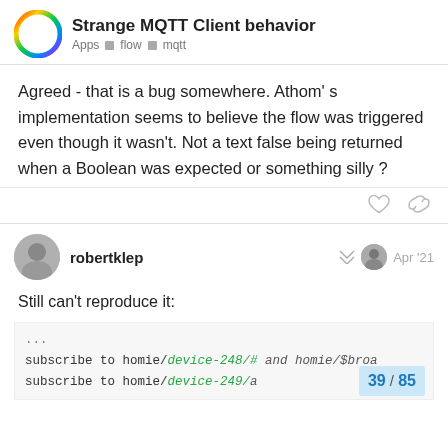Strange MQTT Client behavior — Apps · flow · mqtt
Agreed - that is a bug somewhere. Athom' s implementation seems to believe the flow was triggered even though it wasn't. Not a text false being returned when a Boolean was expected or something silly ?
robertklep  Apr '21
Still can't reproduce it:
...
subscribe to homie/device-248/# and homie/$broa
subscribe to homie/device-249/a